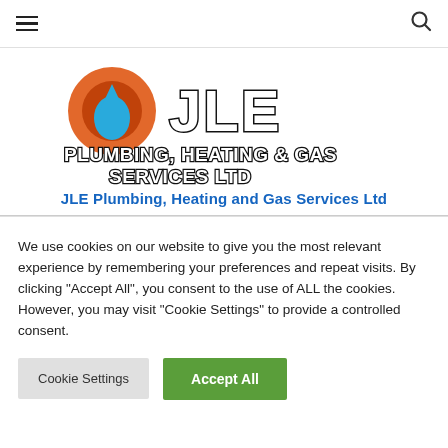Navigation bar with hamburger menu and search icon
[Figure (logo): JLE Plumbing, Heating & Gas Services Ltd logo with orange flame/water drop icon and bold stylized text]
JLE Plumbing, Heating and Gas Services Ltd
We use cookies on our website to give you the most relevant experience by remembering your preferences and repeat visits. By clicking "Accept All", you consent to the use of ALL the cookies. However, you may visit "Cookie Settings" to provide a controlled consent.
Cookie Settings | Accept All